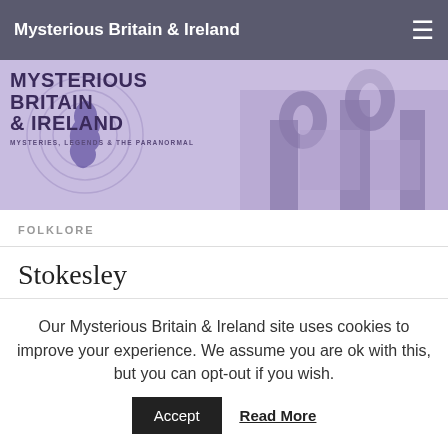Mysterious Britain & Ireland
[Figure (illustration): Mysterious Britain & Ireland banner with logo on left and purple-toned photograph of stone arches/ruins on the right]
FOLKLORE
Stokesley
BY IAN · PUBLISHED SEPTEMBER 14, 2008 · UPDATED DECEMBER 1, 2018
The Wise man of a stokesley a man called Wrightson is reputed to have been a great seer and healer. The 7th son of a 7th daughter he
Our Mysterious Britain & Ireland site uses cookies to improve your experience. We assume you are ok with this, but you can opt-out if you wish.